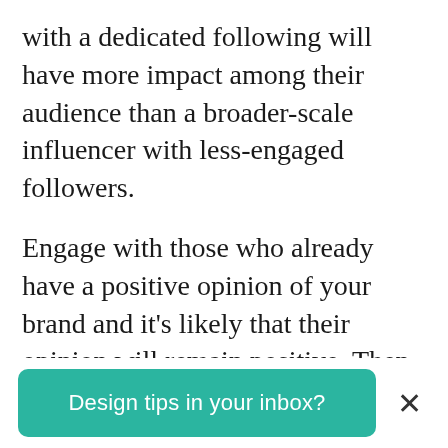with a dedicated following will have more impact among their audience than a broader-scale influencer with less-engaged followers.
Engage with those who already have a positive opinion of your brand and it's likely that their opinion will remain positive. Then, when the time comes to launch your influencer marketing campaign, you'll have a bank of authentic fans already willing and able to work with you.
Wh...
Design tips in your inbox?